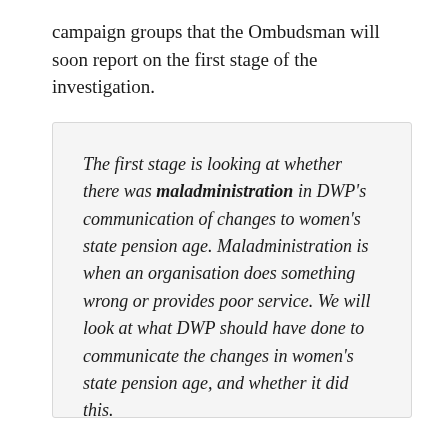campaign groups that the Ombudsman will soon report on the first stage of the investigation.
The first stage is looking at whether there was maladministration in DWP's communication of changes to women's state pension age. Maladministration is when an organisation does something wrong or provides poor service. We will look at what DWP should have done to communicate the changes in women's state pension age, and whether it did this.